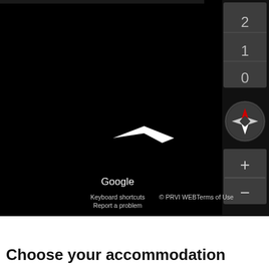[Figure (screenshot): Google Maps satellite/dark view with a white arrow/chevron cursor near center. Right sidebar shows zoom level numbers 2, 1, 0 in grey boxes, a circular compass button with red/white indicator, and zoom +/- controls.]
Google
Keyboard shortcuts  © PRVI WEB  Terms of Use  Report a problem
Choose your accommodation